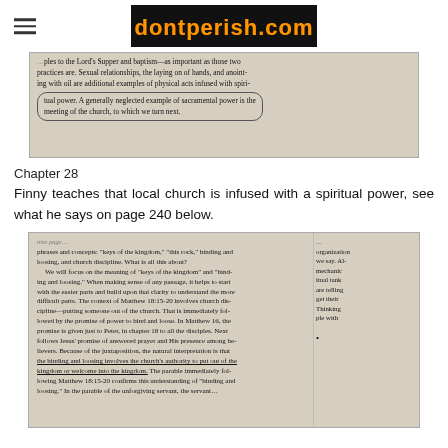dontperish.com
[Figure (photo): Photo of a book page discussing sacramental power, the Lord's Supper, baptism, sexual relationships, laying on of hands, anointing with oil, and the meeting of the church as examples of physical acts infused with spiritual power.]
Chapter 28
Finny teaches that local church is infused with a spiritual power, see what he says on page 240 below.
[Figure (photo): Photo of a book page discussing the meaning of keys of the kingdom, binding and loosing, church discipline, Matthew 18:15-20, and the natural interpretation that binding and loosing involves the church's authority to put out of the kingdom or welcome into the kingdom.]